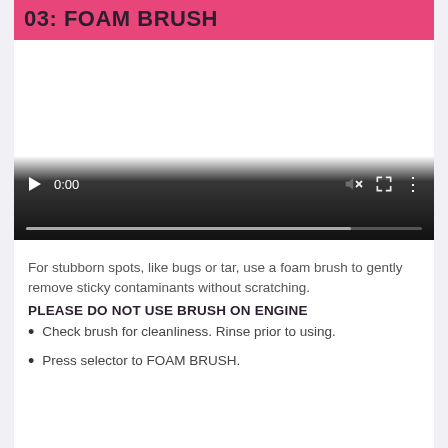03: FOAM BRUSH
[Figure (screenshot): Video player showing a foam brush tutorial. Controls visible: play button, time display 0:00, mute icon, fullscreen icon, menu icon, and a progress bar at the bottom.]
For stubborn spots, like bugs or tar, use a foam brush to gently remove sticky contaminants without scratching.
PLEASE DO NOT USE BRUSH ON ENGINE
Check brush for cleanliness. Rinse prior to using.
Press selector to FOAM BRUSH.